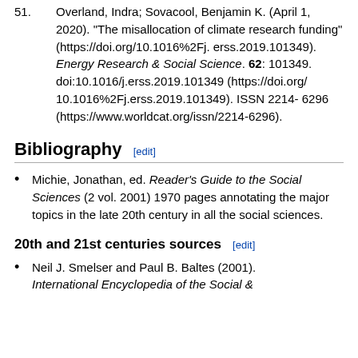51. Overland, Indra; Sovacool, Benjamin K. (April 1, 2020). "The misallocation of climate research funding" (https://doi.org/10.1016%2Fj.erss.2019.101349). Energy Research & Social Science. 62: 101349. doi:10.1016/j.erss.2019.101349 (https://doi.org/10.1016%2Fj.erss.2019.101349). ISSN 2214-6296 (https://www.worldcat.org/issn/2214-6296).
Bibliography [edit]
Michie, Jonathan, ed. Reader's Guide to the Social Sciences (2 vol. 2001) 1970 pages annotating the major topics in the late 20th century in all the social sciences.
20th and 21st centuries sources [edit]
Neil J. Smelser and Paul B. Baltes (2001). International Encyclopedia of the Social &